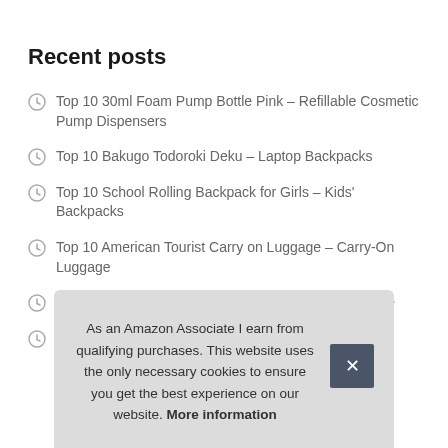Recent posts
Top 10 30ml Foam Pump Bottle Pink – Refillable Cosmetic Pump Dispensers
Top 10 Bakugo Todoroki Deku – Laptop Backpacks
Top 10 School Rolling Backpack for Girls – Kids' Backpacks
Top 10 American Tourist Carry on Luggage – Carry-On Luggage
Top 10 American Tourist Luggage – Carry-On Luggage
Top 10 1.00 Items with Free Shipping – Luggage Sets
As an Amazon Associate I earn from qualifying purchases. This website uses the only necessary cookies to ensure you get the best experience on our website. More information